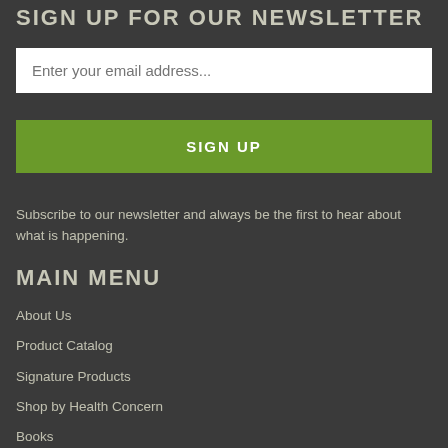SIGN UP FOR OUR NEWSLETTER
Enter your email address...
SIGN UP
Subscribe to our newsletter and always be the first to hear about what is happening.
MAIN MENU
About Us
Product Catalog
Signature Products
Shop by Health Concern
Books
Auto-ship Subscription
Blog